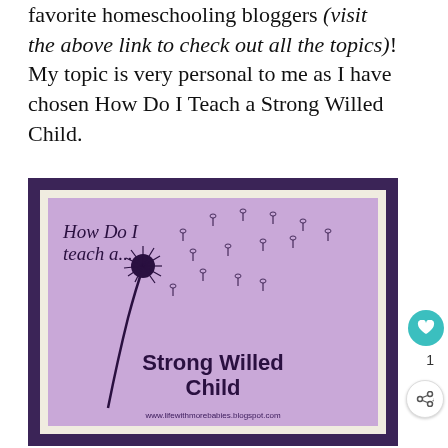favorite homeschooling bloggers (visit the above link to check out all the topics)! My topic is very personal to me as I have chosen How Do I Teach a Strong Willed Child.
[Figure (illustration): A framed illustration with dark purple outer frame and cream mat. The inner lavender square shows a dandelion blowing seeds in the wind. Text reads 'How Do I teach a....' in italic cursive at top left, 'Strong Willed Child' in bold at bottom center, and 'www.lifewithmorebabies.blogspot.com' at the very bottom.]